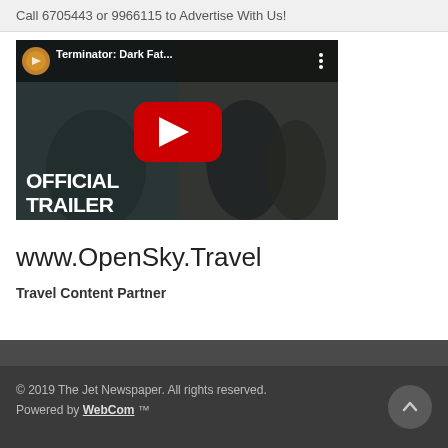Call 6705443 or 9966115 to Advertise With Us!
[Figure (screenshot): YouTube video thumbnail for Terminator: Dark Fat... (Terminator: Dark Fate) Official Trailer, showing Paramount Pictures channel icon, video title, three-dot menu, red YouTube play button, and 'OFFICIAL TRAILER' text overlay on a dark cinematic background.]
www.OpenSky.Travel
Travel Content Partner
© 2019 The Jet Newspaper. All rights reserved.
Powered by WebCom ™